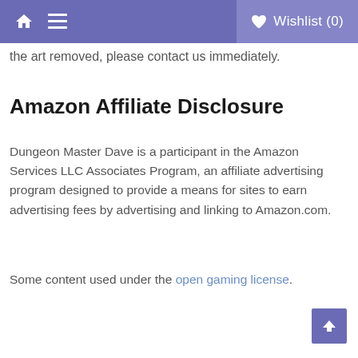Wishlist (0)
the art removed, please contact us immediately.
Amazon Affiliate Disclosure
Dungeon Master Dave is a participant in the Amazon Services LLC Associates Program, an affiliate advertising program designed to provide a means for sites to earn advertising fees by advertising and linking to Amazon.com.
Some content used under the open gaming license.